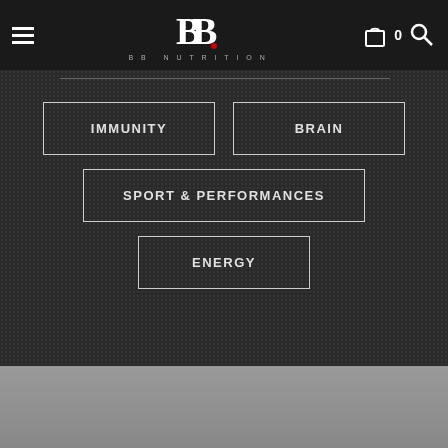BB Nutrition
IMMUNITY
BRAIN
SPORT & PERFORMANCES
ENERGY